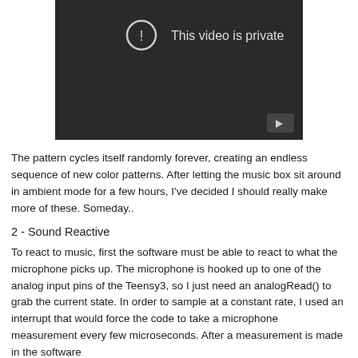[Figure (screenshot): Dark video player thumbnail showing 'This video is private' message with an exclamation icon and a play button in the bottom right corner.]
The pattern cycles itself randomly forever, creating an endless sequence of new color patterns. After letting the music box sit around in ambient mode for a few hours, I've decided I should really make more of these. Someday..
2 - Sound Reactive
To react to music, first the software must be able to react to what the microphone picks up. The microphone is hooked up to one of the analog input pins of the Teensy3, so I just need an analogRead() to grab the current state. In order to sample at a constant rate, I used an interrupt that would force the code to take a microphone measurement every few microseconds. After a measurement is made in the software